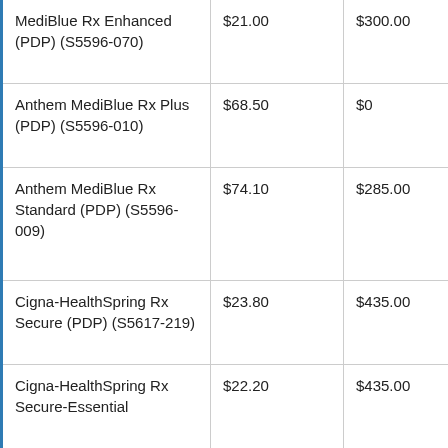| MediBlue Rx Enhanced (PDP) (S5596-070) | $21.00 | $300.00 |
| Anthem MediBlue Rx Plus (PDP) (S5596-010) | $68.50 | $0 |
| Anthem MediBlue Rx Standard (PDP) (S5596-009) | $74.10 | $285.00 |
| Cigna-HealthSpring Rx Secure (PDP) (S5617-219) | $23.80 | $435.00 |
| Cigna-HealthSpring Rx Secure-Essential... | $22.20 | $435.00 |